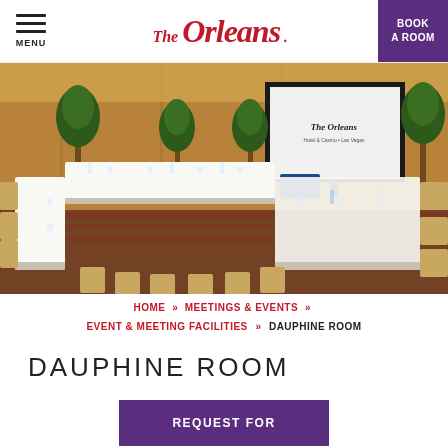MENU | The Orleans | BOOK A ROOM
[Figure (photo): Conference room photo showing U-shaped table setup with chairs, white tablecloths, water glasses, and a projection screen displaying The Orleans logo at the front of the room. Trees in planters decorate the corners. The floor has a patterned carpet.]
HOME » MEETINGS & EVENTS » EVENT & MEETING FACILITIES » DAUPHINE ROOM
DAUPHINE ROOM
REQUEST FOR